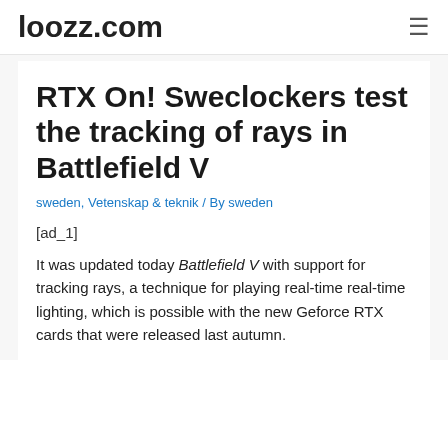loozz.com
RTX On! Sweclockers test the tracking of rays in Battlefield V
sweden, Vetenskap & teknik / By sweden
[ad_1]
It was updated today Battlefield V with support for tracking rays, a technique for playing real-time real-time lighting, which is possible with the new Geforce RTX cards that were released last autumn.